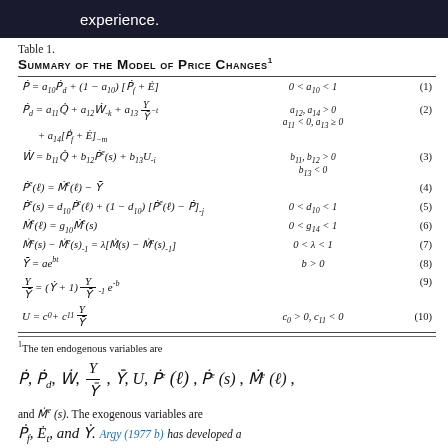experience.
Table 1.
Summary of the Model of Price Changes
| Equation | Condition | Number |
| --- | --- | --- |
| Ṗ = a₁₀Ṗd + (1 − a₁₀)[Ṗf + Ė] | 0 < a₁₀ < 1 | (1) |
| Ṗd = a₁₁Q̇ + a₁₂Ẇ₋ₖ + a₁₃(Y/Ȳ)₋ₜ + a₁₄[Ṗf + Ė]₋ₘ | a₁₂, a₁₄ > 0; a₁₁ < 0, a₁₃ ≥ 0 | (2) |
| Ẇ = b₁₁Q̇ + b₁₂Ṗᵉ(s) + b₁₃U₋ᵢ | b₁₁, b₁₂ > 0; b₁₃ < 0 | (3) |
| Ṗᵉ(ℓ) = Ṁᵉ(ℓ) − Ȳ |  | (4) |
| Ṗᵉ(s) = d₁₀Ṗᵉ(ℓ) + (1 − d₁₀)[Ṗᵉ(ℓ) − Ṗ]₋ᵢ | 0 < d₁₀ < 1 | (5) |
| Ṁᵉ(ℓ) = g₁₀Ṁᵉ(s) | 0 < g₁₄ < 1 | (6) |
| Ṁᵉ(s) − Ṁᵉ(s)₋₁ = λ[Ṁ(s) − Ṁᵉ(s)₋₁] | 0 < λ < 1 | (7) |
| Ȳ = aeᵇᵗ | b > 0 | (8) |
| Y/Ȳ = (Ẏ + 1)(Y/Ȳ)₋₁ e⁻ᵇ |  | (9) |
| U = c₀ + c₁₁(Y/Ȳ) | c₀ > 0, c₁₁ < 0 | (10) |
¹The ten endogenous variables are Ṗ, Ṗd, Ẇ, Y/Ȳ, Ȳ, U, Ṗᵉ(ℓ), Ṗᵉ(s), Ṁᵉ(ℓ), and Ṁᵉ(s). The exogenous variables are Ṗf, Ė, and Ẏ. Argy (1977 b) has developed a model of output changes in which the rate of inflation is exogenous. A study on the joint
and Ṁᵉ(s). The exogenous variables are Ṗf, Ė, and Ẏ. Argy (1977 b) has developed a model of output changes in which the rate of inflation is exogenous. A study on the joint